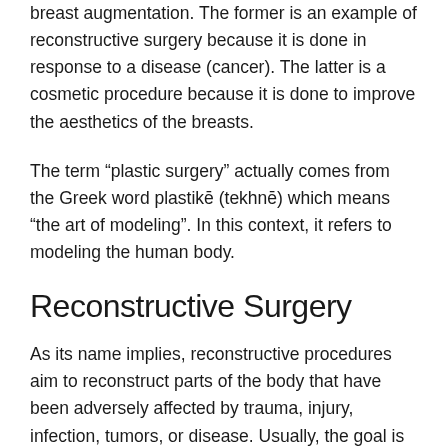breast augmentation. The former is an example of reconstructive surgery because it is done in response to a disease (cancer). The latter is a cosmetic procedure because it is done to improve the aesthetics of the breasts.
The term “plastic surgery” actually comes from the Greek word plastikē (tekhnē) which means “the art of modeling”. In this context, it refers to modeling the human body.
Reconstructive Surgery
As its name implies, reconstructive procedures aim to reconstruct parts of the body that have been adversely affected by trauma, injury, infection, tumors, or disease. Usually, the goal is to restore the body part to the functionality and